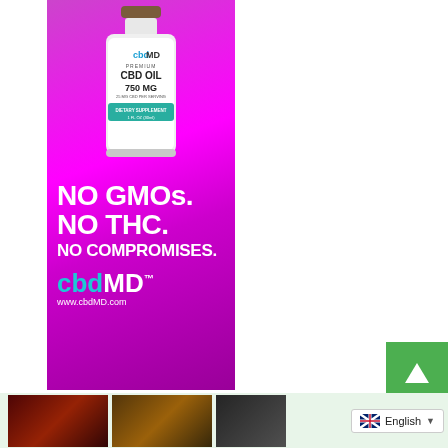[Figure (advertisement): cbdMD advertisement with magenta/pink background. Top portion shows a white bottle of cbdMD Premium CBD Oil 750 MG dietary supplement. Below the bottle, large bold white text reads: NO GMOs. NO THC. NO COMPROMISES. At the bottom, cbdMD logo in white and www.cbdMD.com]
[Figure (photo): Bottom strip showing partial images of people/thumbnails with a green background, and an English language selector dropdown (UK flag icon with 'English' text and dropdown arrow) in the bottom right area.]